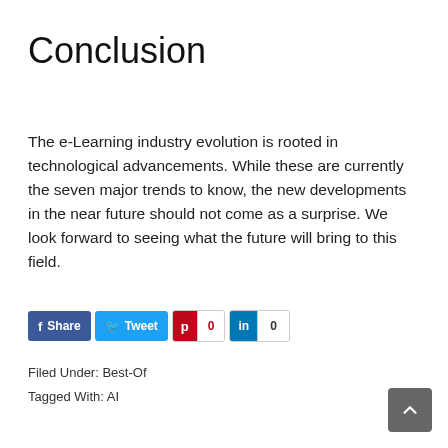Conclusion
The e-Learning industry evolution is rooted in technological advancements. While these are currently the seven major trends to know, the new developments in the near future should not come as a surprise. We look forward to seeing what the future will bring to this field.
[Figure (other): Social sharing buttons row: Facebook Share button (blue), Twitter tweet button (light blue), Pinterest button with count 0 (red), LinkedIn button with count 0 (dark blue/white)]
Filed Under: Best-Of
Tagged With: AI